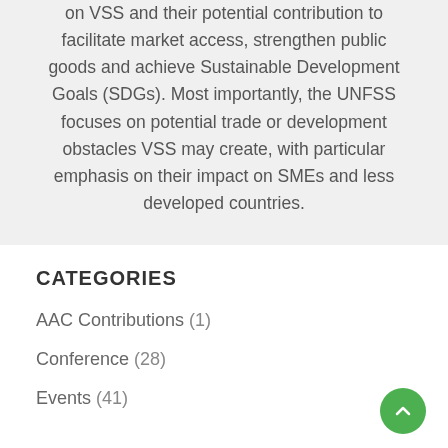on VSS and their potential contribution to facilitate market access, strengthen public goods and achieve Sustainable Development Goals (SDGs). Most importantly, the UNFSS focuses on potential trade or development obstacles VSS may create, with particular emphasis on their impact on SMEs and less developed countries.
CATEGORIES
AAC Contributions (1)
Conference (28)
Events (41)